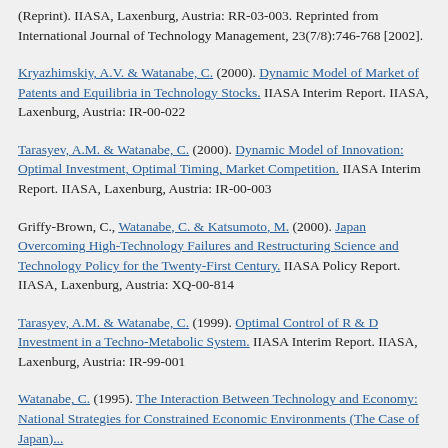(Reprint). IIASA, Laxenburg, Austria: RR-03-003. Reprinted from International Journal of Technology Management, 23(7/8):746-768 [2002].
Kryazhimskiy, A.V. & Watanabe, C. (2000). Dynamic Model of Market of Patents and Equilibria in Technology Stocks. IIASA Interim Report. IIASA, Laxenburg, Austria: IR-00-022
Tarasyev, A.M. & Watanabe, C. (2000). Dynamic Model of Innovation: Optimal Investment, Optimal Timing, Market Competition. IIASA Interim Report. IIASA, Laxenburg, Austria: IR-00-003
Griffy-Brown, C., Watanabe, C. & Katsumoto, M. (2000). Japan Overcoming High-Technology Failures and Restructuring Science and Technology Policy for the Twenty-First Century. IIASA Policy Report. IIASA, Laxenburg, Austria: XQ-00-814
Tarasyev, A.M. & Watanabe, C. (1999). Optimal Control of R & D Investment in a Techno-Metabolic System. IIASA Interim Report. IIASA, Laxenburg, Austria: IR-99-001
Watanabe, C. (1995). The Interaction Between Technology and Economy: National Strategies for Constrained Economic Environments (The Case of Japan)...